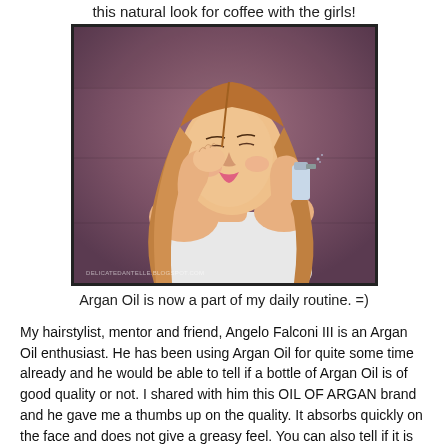this natural look for coffee with the girls!
[Figure (photo): Young woman with long straight hair against a purple/mauve wall, touching her cheek with one hand and holding a spray bottle in the other. She is wearing a white strapless top. Watermark text reads: DELICATEDANTELLE.BLOGSPOT.COM]
Argan Oil is now a part of my daily routine. =)
My hairstylist, mentor and friend, Angelo Falconi III is an Argan Oil enthusiast. He has been using Argan Oil for quite some time already and he would be able to tell if a bottle of Argan Oil is of good quality or not. I shared with him this OIL OF ARGAN brand and he gave me a thumbs up on the quality. It absorbs quickly on the face and does not give a greasy feel. You can also tell if it is pure if it has a sort of nutty scent. Pure Argan Oil won't have a perfume-y or sweet smelling scent. In other words, it usually is not super bango. Don't expect it to smell like shampoo, lotion or baby oil. That's how you can also tell if it is pure and of good quality.